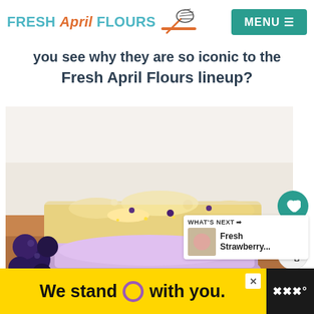FRESH April FLOURS [logo with whisk] | MENU
you see why they are so iconic to the Fresh April Flours lineup?
[Figure (photo): Close-up photo of a blueberry bar dessert with crumbly golden topping and purple blueberry filling, fresh blueberries visible on left side]
352
WHAT'S NEXT → Fresh Strawberry...
We stand O with you.